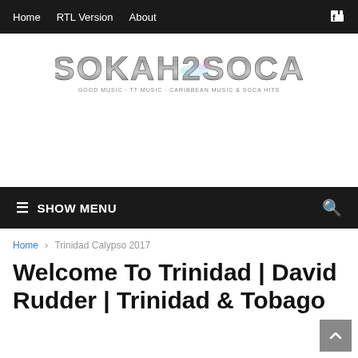Home  RTL Version  About
[Figure (logo): SOKAH2SOCA logo with decorative glitter/chrome text effect and tagline beneath]
☰ SHOW MENU
Home › Trinidad Calypso 2017
Welcome To Trinidad | David Rudder | Trinidad & Tobago